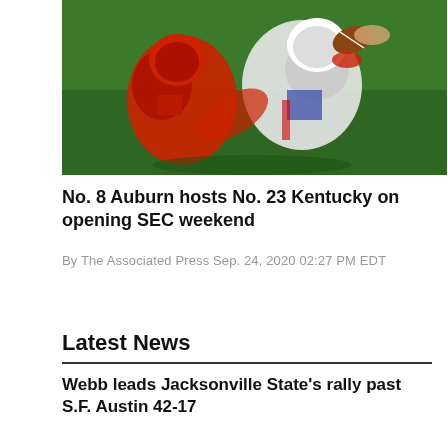[Figure (photo): Football action photo showing two players, one in red uniform tackling another in blue/white uniform who is catching or carrying a football, on a green field background]
No. 8 Auburn hosts No. 23 Kentucky on opening SEC weekend
By The Associated Press Sep. 24, 2020 02:27 PM EDT
Latest News
Webb leads Jacksonville State's rally past S.F. Austin 42-17